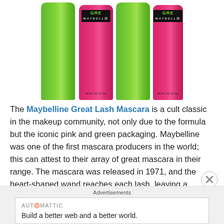[Figure (photo): Four Maybelline Great Lash Mascara tubes in alternating green and pink colors. The pink tubes show the label reading GREAT LASH MAYBELLNE and .43 FL OZ 12.7mL at the bottom.]
The Maybelline Great Lash Mascara is a cult classic in the makeup community, not only due to the formula but the iconic pink and green packaging. Maybelline was one of the first mascara producers in the world; this can attest to their array of great mascara in their range. The mascara was released in 1971, and the heart-shaped wand reaches each lash, leaving a voluminous and lengthening effect. The product retails for $7.99 and is available at Ulta and on the Maybelline website.
Advertisements
AUTOMATTIC
Build a better web and a better world.